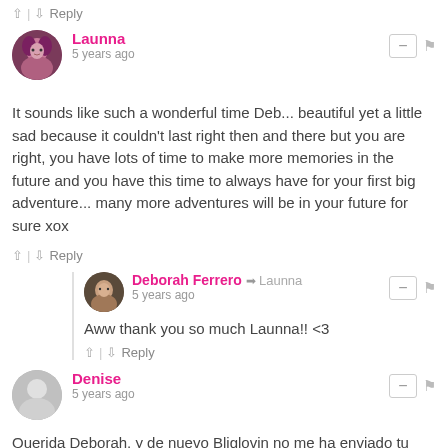^ | v  Reply
Launna
5 years ago
It sounds like such a wonderful time Deb... beautiful yet a little sad because it couldn't last right then and there but you are right, you have lots of time to make more memories in the future and you have this time to always have for your first big adventure... many more adventures will be in your future for sure xox
^ | v  Reply
Deborah Ferrero → Launna
5 years ago
Aww thank you so much Launna!! <3
^ | v  Reply
Denise
5 years ago
Querida Deborah, y de nuevo Bliglovin no me ha enviado tu post... asi que he venido aqui y yes, there is a post. Asi que voy a pasar aqui los miercoles, para leer tus posts